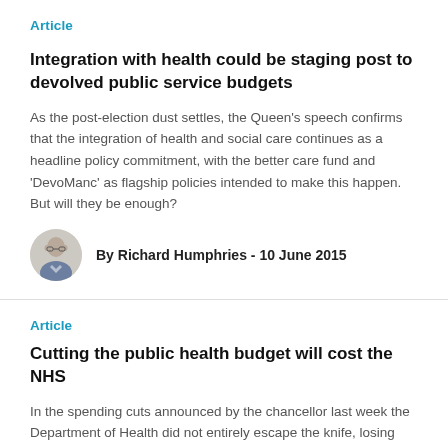Article
Integration with health could be staging post to devolved public service budgets
As the post-election dust settles, the Queen's speech confirms that the integration of health and social care continues as a headline policy commitment, with the better care fund and 'DevoManc' as flagship policies intended to make this happen. But will they be enough?
By Richard Humphries - 10 June 2015
Article
Cutting the public health budget will cost the NHS
In the spending cuts announced by the chancellor last week the Department of Health did not entirely escape the knife, losing £200 million from its budget from 'non-NHS' sources. It turns out this source will be local government